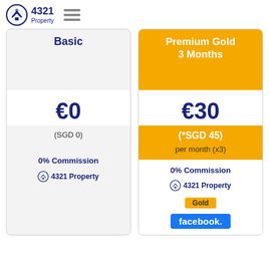4321 Property
| Basic | Premium Gold 3 Months |
| --- | --- |
| €0 | €30 |
| (SGD 0) | (*SGD 45) |
|  | per month (x3) |
| 0% Commission | 0% Commission |
| 4321 Property | 4321 Property |
|  | Gold |
|  | facebook. |